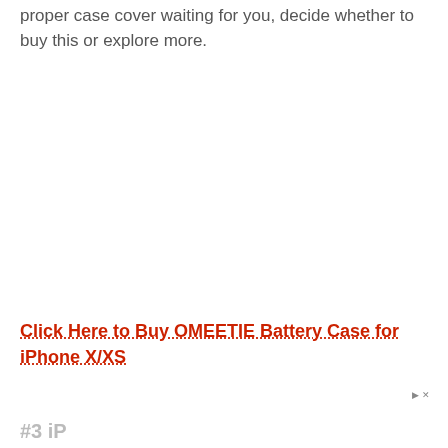proper case cover waiting for you, decide whether to buy this or explore more.
Click Here to Buy OMEETIE Battery Case for iPhone X/XS
#3 iP...
[Figure (other): Orange advertisement banner for Hefty brand reading 'A PARTY in EVERY PACK' with Hefty logo and play/close controls]